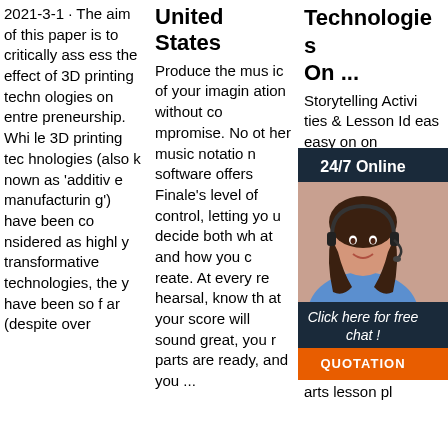2021-3-1 · The aim of this paper is to critically assess the effect of 3D printing technologies on entrepreneurship. While 3D printing technologies (also known as 'additive manufacturing') have been considered as highly transformative technologies, they have been so far (despite over
United States Produce the music of your imagination without compromise. No other music notation software offers Finale's level of control, letting you decide both what and how you create. At every rehearsal, know that your score will sound great, your parts are ready, and you ...
Technologies On ...
Storytelling Activities & Lesson Ideas easy on activities pedagogically/authors For storytellers, teachers, and librarians-can be expanded producers into language arts lesson pl
[Figure (infographic): Customer service widget overlay with dark navy background. Shows '24/7 Online' text at top, a photo of a smiling woman with a headset, then 'Click here for free chat!' text, and an orange 'QUOTATION' button at the bottom.]